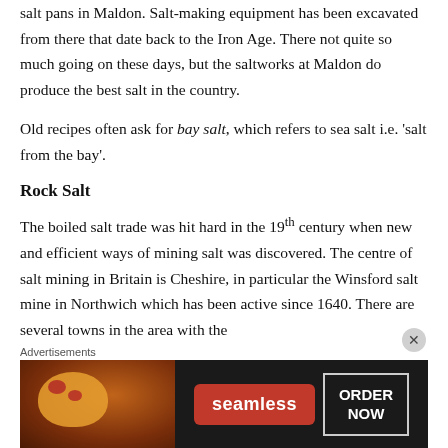salt pans in Maldon. Salt-making equipment has been excavated from there that date back to the Iron Age. There not quite so much going on these days, but the saltworks at Maldon do produce the best salt in the country.
Old recipes often ask for bay salt, which refers to sea salt i.e. 'salt from the bay'.
Rock Salt
The boiled salt trade was hit hard in the 19th century when new and efficient ways of mining salt was discovered. The centre of salt mining in Britain is Cheshire, in particular the Winsford salt mine in Northwich which has been active since 1640. There are several towns in the area with the
Advertisements
[Figure (photo): Seamless food delivery advertisement banner showing pizza image on left, Seamless logo in red in center, and ORDER NOW button on right, on dark background]